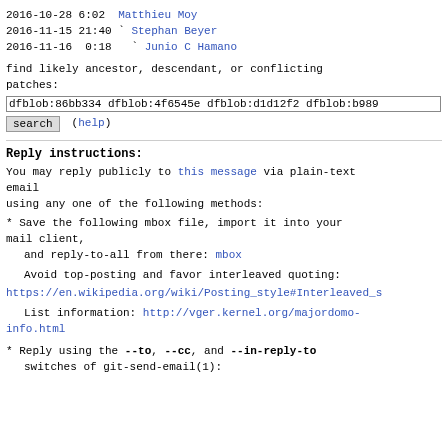2016-10-28  6:02   Matthieu Moy
2016-11-15 21:40 ` Stephan Beyer
2016-11-16  0:18   ` Junio C Hamano
find likely ancestor, descendant, or conflicting patches:
dfblob:86bb334 dfblob:4f6545e dfblob:d1d12f2 dfblob:b989
search    (help)
Reply instructions:
You may reply publicly to this message via plain-text email
using any one of the following methods:
* Save the following mbox file, import it into your mail client,
   and reply-to-all from there: mbox
Avoid top-posting and favor interleaved quoting:
https://en.wikipedia.org/wiki/Posting_style#Interleaved_s
List information: http://vger.kernel.org/majordomo-info.html
* Reply using the --to, --cc, and --in-reply-to
  switches of git-send-email(1):